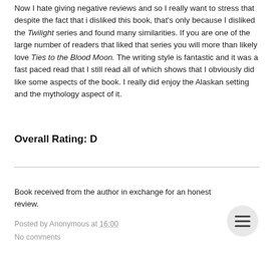Now I hate giving negative reviews and so I really want to stress that despite the fact that i disliked this book, that's only because I disliked the Twilight series and found many similarities. If you are one of the large number of readers that liked that series you will more than likely love Ties to the Blood Moon. The writing style is fantastic and it was a fast paced read that I still read all of which shows that I obviously did like some aspects of the book. I really did enjoy the Alaskan setting and the mythology aspect of it.
Overall Rating: D
Book received from the author in exchange for an honest review.
Posted by Anonymous at 16:00
No comments